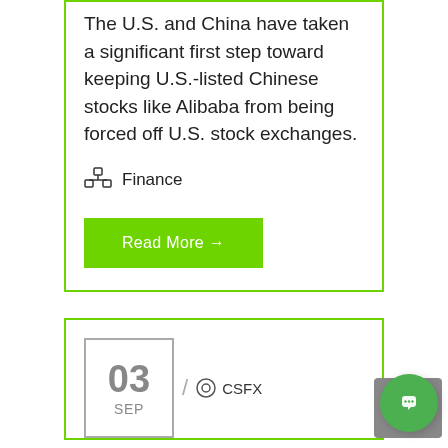The U.S. and China have taken a significant first step toward keeping U.S.-listed Chinese stocks like Alibaba from being forced off U.S. stock exchanges.
Finance
Read More →
03 SEP / CSFX